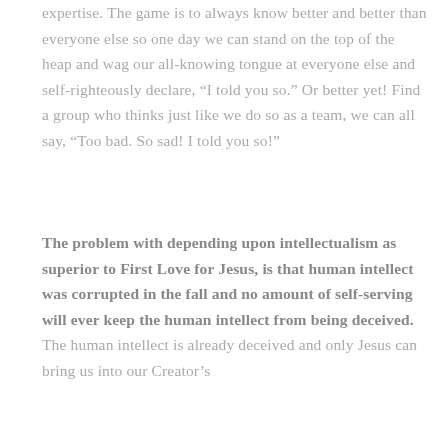expertise. The game is to always know better and better than everyone else so one day we can stand on the top of the heap and wag our all-knowing tongue at everyone else and self-righteously declare, “I told you so.” Or better yet! Find a group who thinks just like we do so as a team, we can all say, “Too bad. So sad! I told you so!”
The problem with depending upon intellectualism as superior to First Love for Jesus, is that human intellect was corrupted in the fall and no amount of self-serving will ever keep the human intellect from being deceived. The human intellect is already deceived and only Jesus can bring us into our Creator’s